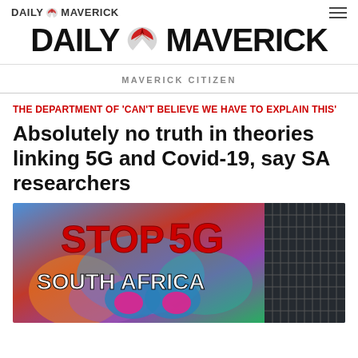DAILY MAVERICK
[Figure (logo): Daily Maverick large logo with eagle/bird graphic between DAILY and MAVERICK text]
MAVERICK CITIZEN
THE DEPARTMENT OF 'CAN'T BELIEVE WE HAVE TO EXPLAIN THIS'
Absolutely no truth in theories linking 5G and Covid-19, say SA researchers
[Figure (photo): Photo of a colorful protest poster reading STOP 5G SOUTH AFRICA with psychedelic butterfly artwork in background]